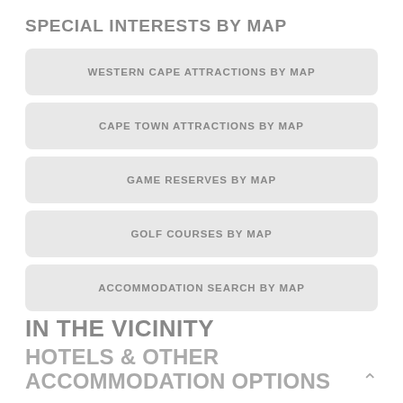SPECIAL INTERESTS BY MAP
WESTERN CAPE ATTRACTIONS BY MAP
CAPE TOWN ATTRACTIONS BY MAP
GAME RESERVES BY MAP
GOLF COURSES BY MAP
ACCOMMODATION SEARCH BY MAP
IN THE VICINITY
HOTELS & OTHER ACCOMMODATION OPTIONS